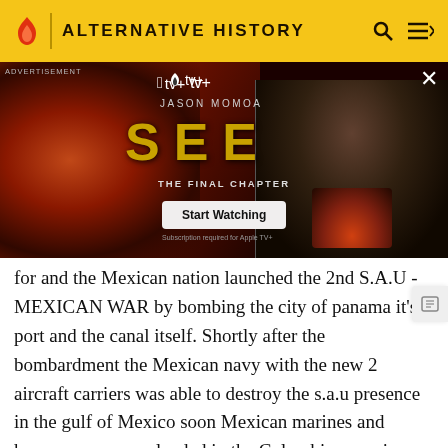ALTERNATIVE HISTORY
[Figure (photo): Advertisement for Apple TV+ show 'SEE - THE FINAL CHAPTER' starring Jason Momoa. Dark red/orange themed ad with two images of Jason Momoa and a 'Start Watching' button.]
for and the Mexican nation launched the 2nd S.A.U - MEXICAN WAR by bombing the city of panama it's port and the canal itself. Shortly after the bombardment the Mexican navy with the new 2 aircraft carriers was able to destroy the s.a.u presence in the gulf of Mexico soon Mexican marines and heavy armor were landed in the Colombian province of Chocó where they soon took control of all major links to panama and cut the city away from any resupply from s.a.u. the mexican1, 2 and 23